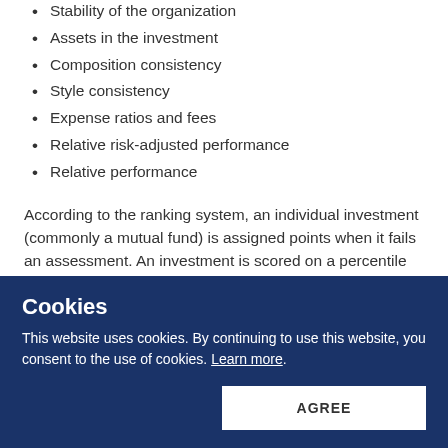Stability of the organization
Assets in the investment
Composition consistency
Style consistency
Expense ratios and fees
Relative risk-adjusted performance
Relative performance
According to the ranking system, an individual investment (commonly a mutual fund) is assigned points when it fails an assessment. An investment is scored on a percentile basis, between 1-100, with 0 assigned to a fund that passes on all metrics.
“Similar to golf, the lower, the better,” according to Fi360.
Please check information for more information about...
Cookies
This website uses cookies. By continuing to use this website, you consent to the use of cookies. Learn more.
AGREE